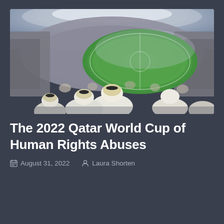[Figure (photo): Aerial view of a packed football stadium with spectators in traditional Qatari dress (white thobes and keffiyeh) in the foreground watching a football match on a green pitch below]
The 2022 Qatar World Cup of Human Rights Abuses
August 31, 2022   Laura Shorten